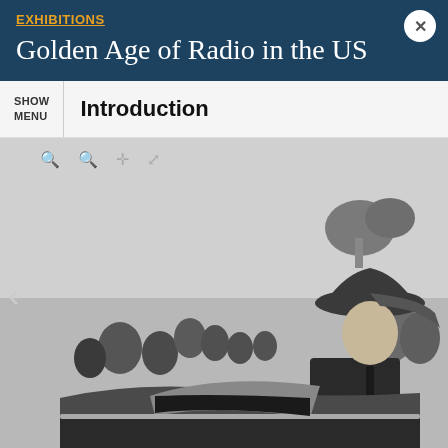EXHIBITIONS
Golden Age of Radio in the US
Introduction
[Figure (photo): Black and white photograph of a man wearing a cowboy hat and suit, leaning on a convertible car, surrounded by a crowd of people outdoors.]
Navigation dots: gray, gray, red (active)